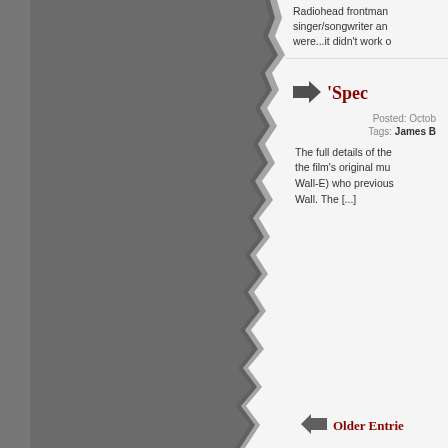[Figure (photo): Dark grey textured surface resembling torn paper or a stone/slate wall, occupying the left two-thirds of the page with a torn edge on the right side.]
Radiohead frontman singer/songwriter and were...it didn't work o
'Spec
Posted: Octob
Tags: James B
The full details of the the film's original mus Wall-E) who previous Wall. The [...]
Older Entrie